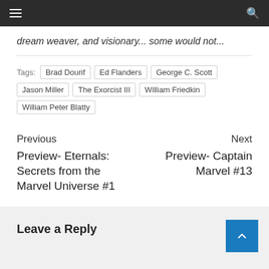Navigation bar with hamburger menu and search icon
dream weaver, and visionary... some would not...
Tags: Brad Dourif | Ed Flanders | George C. Scott | Jason Miller | The Exorcist III | William Friedkin | William Peter Blatty
Previous
Preview- Eternals: Secrets from the Marvel Universe #1
Next
Preview- Captain Marvel #13
Leave a Reply